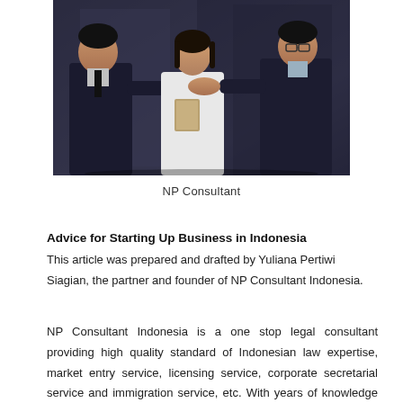[Figure (photo): Three business professionals in formal attire shaking hands, business meeting scene]
NP Consultant
Advice for Starting Up Business in Indonesia
This article was prepared and drafted by Yuliana Pertiwi Siagian, the partner and founder of NP Consultant Indonesia.
NP Consultant Indonesia is a one stop legal consultant providing high quality standard of Indonesian law expertise, market entry service, licensing service, corporate secretarial service and immigration service, etc. With years of knowledge and